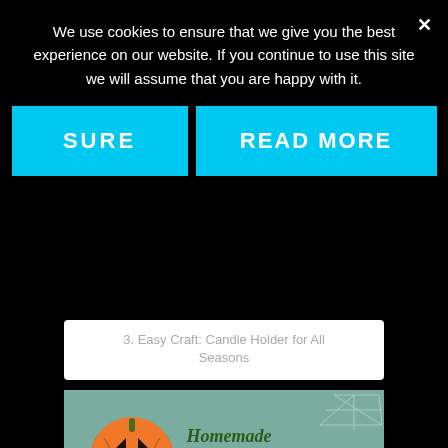We use cookies to ensure that we give you the best experience on our website. If you continue to use this site we will assume that you are happy with it.
[Figure (screenshot): Cookie consent overlay with two buttons: SURE and READ MORE, on a black background. Below the overlay is a website listing with item 3 (Easy Craft: Candle Holder for All Seasons) partially visible, and item 4 (Homemade Candy Corn) showing a photo of candy corn in a bowl with a jack-o-lantern decoration.]
3. Easy Craft: Candle Holder for All Seasons
4. Homemade Candy Corn ·